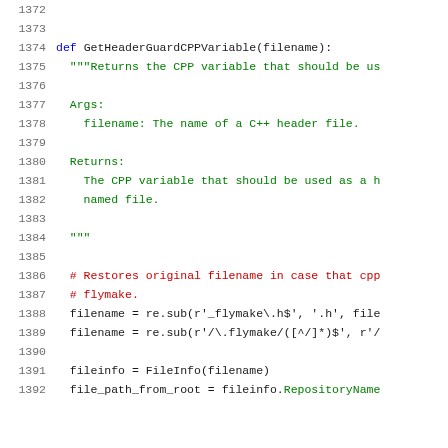Code listing lines 1372-1392 showing Python function GetHeaderGuardCPPVariable
1372 (blank)
1373 (blank)
1374     def GetHeaderGuardCPPVariable(filename):
1375       """Returns the CPP variable that should be us
1376 (blank)
1377       Args:
1378         filename: The name of a C++ header file.
1379 (blank)
1380       Returns:
1381         The CPP variable that should be used as a h
1382         named file.
1383 (blank)
1384       """
1385 (blank)
1386       # Restores original filename in case that cpp
1387       # flymake.
1388       filename = re.sub(r'_flymake\.h$', '.h', file
1389       filename = re.sub(r'/\.flymake/([^/]*)$', r'/
1390 (blank)
1391       fileinfo = FileInfo(filename)
1392       file_path_from_root = fileinfo.RepositoryName